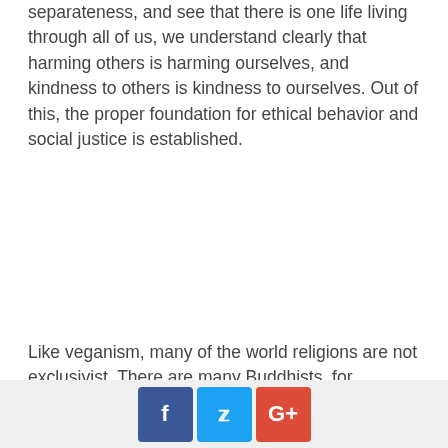separateness, and see that there is one life living through all of us, we understand clearly that harming others is harming ourselves, and kindness to others is kindness to ourselves. Out of this, the proper foundation for ethical behavior and social justice is established.
Like veganism, many of the world religions are not exclusivist. There are many Buddhists, for example, who also consider themselves Hindus or Taoists, and they and their culture see this is normal and natural. Likewise, we can be simultaneously a vegan and also be Christian, Muslim, Hindu, Jewish, Buddhist, or an agnostic or atheist. The beauty of veganism is that, as the living core of all world religions, embracing veganism will invariably make us better Christians, Buddhists, Taoists, agnostics, or whatever. Our lives will
Social share buttons: Facebook, Twitter, Google+